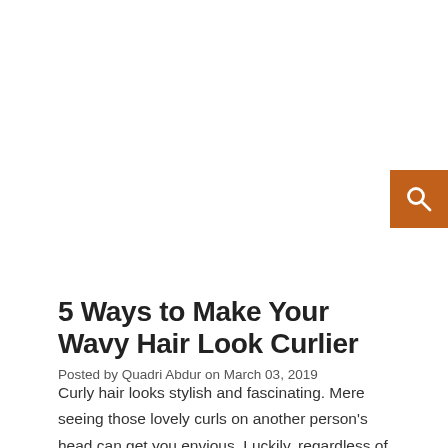[Figure (other): Orange search button icon in top-right corner]
5 Ways to Make Your Wavy Hair Look Curlier
Posted by Quadri Abdur on March 03, 2019
Curly hair looks stylish and fascinating. Mere seeing those lovely curls on another person's head can get you envious. Luckily, regardless of your hair texture or length, you can also achieve the extra curls you